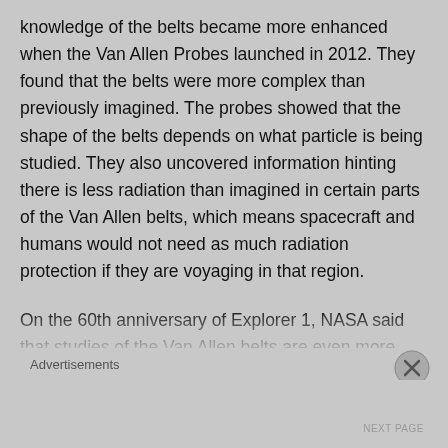knowledge of the belts became more enhanced when the Van Allen Probes launched in 2012. They found that the belts were more complex than previously imagined. The probes showed that the shape of the belts depends on what particle is being studied. They also uncovered information hinting there is less radiation than imagined in certain parts of the Van Allen belts, which means spacecraft and humans would not need as much radiation protection if they are voyaging in that region.
On the 60th anniversary of Explorer 1, NASA said that studies of the Van Allen belts are even more important today. “Our current technology is ever more susceptible to these accelerated particles because even a single hit from a particle can upset our ever smaller instruments
Advertisements